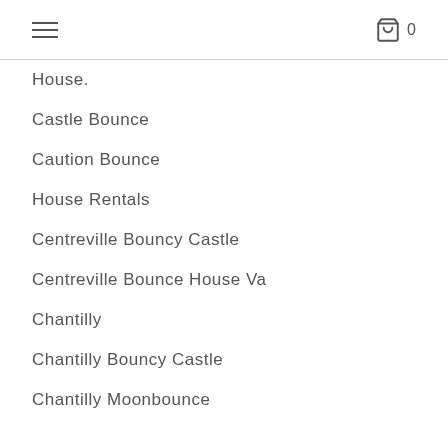≡  🛍 0
House.
Castle Bounce
Caution Bounce
House Rentals
Centreville Bouncy Castle
Centreville Bounce House Va
Chantilly
Chantilly Bouncy Castle
Chantilly Moonbounce